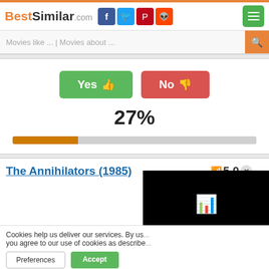BestSimilar.com
Movies like ... | Movies about ...
[Figure (infographic): Yes thumbs-up button (green) and No thumbs-down button (red) for user voting]
27%
[Figure (bar-chart): Progress bar showing 27% completion, orange fill on grey background]
The Annihilators (1985)
5.0
Cookies help us deliver our services. By us... you agree to our use of cookies as describe...